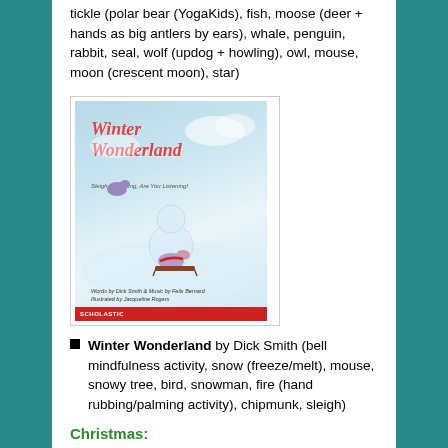tickle (polar bear (YogaKids), fish, moose (deer + hands as big antlers by ears), whale, penguin, rabbit, seal, wolf (updog + howling), owl, mouse, moon (crescent moon), star)
[Figure (photo): Book cover of 'Winter Wonderland: Sleigh Bells Ring, Are You Listening?' illustrated by Jacqueline Rogers, published by Scholastic. Shows cartoon mice sledding in a snowy scene.]
Winter Wonderland by Dick Smith (bell mindfulness activity, snow (freeze/melt), mouse, snowy tree, bird, snowman, fire (hand rubbing/palming activity), chipmunk, sleigh)
Christmas: